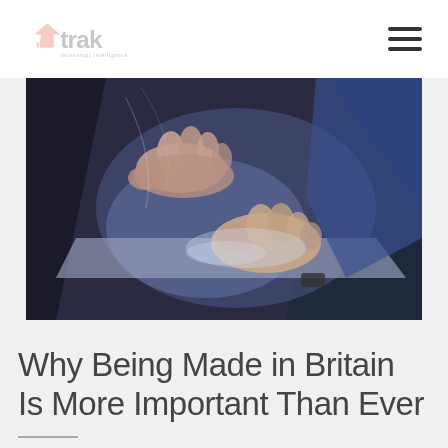trak
[Figure (photo): Close-up photo of hands typing/touching a laptop touchpad or tablet, with blue-tinted lighting, shot from above at an angle.]
Why Being Made in Britain Is More Important Than Ever